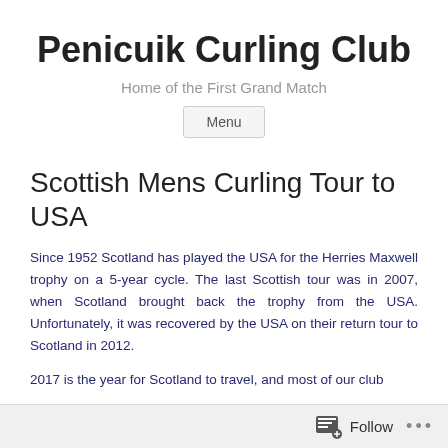Penicuik Curling Club
Home of the First Grand Match
Menu
Scottish Mens Curling Tour to USA
Since 1952 Scotland has played the USA for the Herries Maxwell trophy on a 5-year cycle. The last Scottish tour was in 2007, when Scotland brought back the trophy from the USA. Unfortunately, it was recovered by the USA on their return tour to Scotland in 2012.
2017 is the year for Scotland to travel, and most of our club
Follow ...